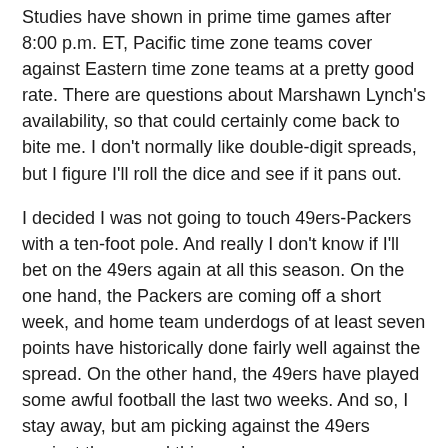Studies have shown in prime time games after 8:00 p.m. ET, Pacific time zone teams cover against Eastern time zone teams at a pretty good rate. There are questions about Marshawn Lynch's availability, so that could certainly come back to bite me. I don't normally like double-digit spreads, but I figure I'll roll the dice and see if it pans out.
I decided I was not going to touch 49ers-Packers with a ten-foot pole. And really I don't know if I'll bet on the 49ers again at all this season. On the one hand, the Packers are coming off a short week, and home team underdogs of at least seven points have historically done fairly well against the spread. On the other hand, the 49ers have played some awful football the last two weeks. And so, I stay away, but am picking against the 49ers against the spread this week.